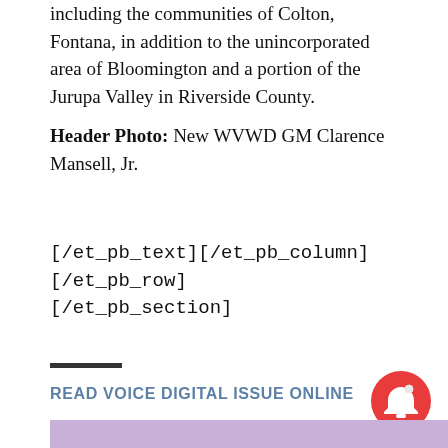including the communities of Colton, Fontana, in addition to the unincorporated area of Bloomington and a portion of the Jurupa Valley in Riverside County.
Header Photo: New WVWD GM Clarence Mansell, Jr.
[/et_pb_text][/et_pb_column][/et_pb_row][/et_pb_section]
READ VOICE DIGITAL ISSUE ONLINE
[Figure (other): Purple/lavender colored bar at the bottom of the page]